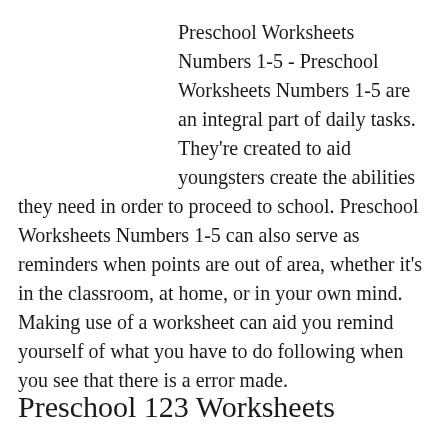Preschool Worksheets Numbers 1-5 - Preschool Worksheets Numbers 1-5 are an integral part of daily tasks. They're created to aid youngsters create the abilities they need in order to proceed to school. Preschool Worksheets Numbers 1-5 can also serve as reminders when points are out of area, whether it's in the classroom, at home, or in your own mind. Making use of a worksheet can aid you remind yourself of what you have to do following when you see that there is a error made.
Preschool 123 Worksheets